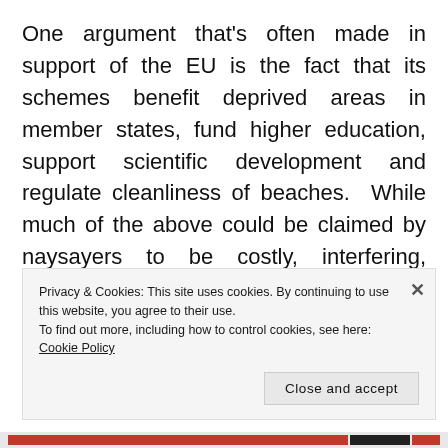One argument that's often made in support of the EU is the fact that its schemes benefit deprived areas in member states, fund higher education, support scientific development and regulate cleanliness of beaches.  While much of the above could be claimed by naysayers to be costly, interfering, inefficient and exceeding the body's initial remit, there's one point that seems never to have been adequately
Privacy & Cookies: This site uses cookies. By continuing to use this website, you agree to their use.
To find out more, including how to control cookies, see here: Cookie Policy